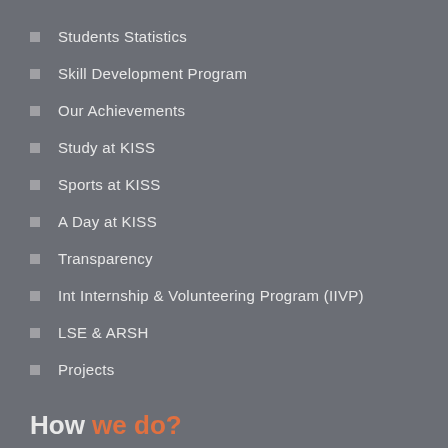Students Statistics
Skill Development Program
Our Achievements
Study at KISS
Sports at KISS
A Day at KISS
Transparency
Int Internship & Volunteering Program (IIVP)
LSE & ARSH
Projects
How we do?
Inspiration